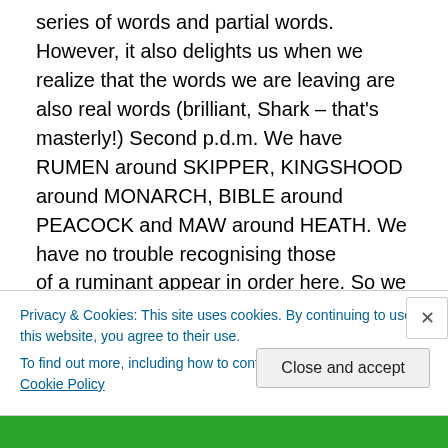series of words and partial words. However, it also delights us when we realize that the words we are leaving are also real words (brilliant, Shark – that's masterly!) Second p.d.m. We have RUMEN around SKIPPER, KINGSHOOD around MONARCH, BIBLE around PEACOCK and MAW around HEATH. We have no trouble recognising those butterflies (we had them as flutter-byes in a recent Spoonerising Listener not long ago, didn't we, and in Eclogues EV just a week ago?), but we have to check the stomachs and are delighted to find that the four stomachs of a ruminant appear in order here. So we are 'Flanny'
Privacy & Cookies: This site uses cookies. By continuing to use this website, you agree to their use.
To find out more, including how to control cookies, see here: Cookie Policy